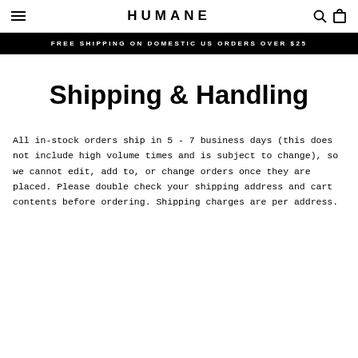HUMANE
FREE SHIPPING ON DOMESTIC US ORDERS OVER $25
Shipping & Handling
All in-stock orders ship in 5 - 7 business days (this does not include high volume times and is subject to change), so we cannot edit, add to, or change orders once they are placed. Please double check your shipping address and cart contents before ordering. Shipping charges are per address.